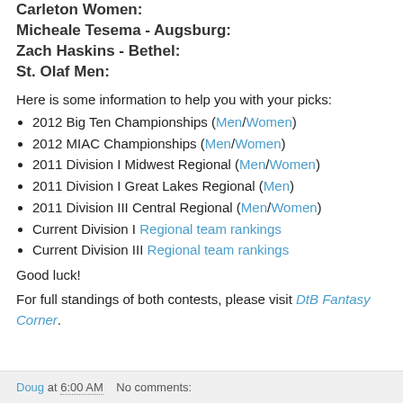Carleton Women:
Micheale Tesema - Augsburg:
Zach Haskins - Bethel:
St. Olaf Men:
Here is some information to help you with your picks:
2012 Big Ten Championships (Men/Women)
2012 MIAC Championships (Men/Women)
2011 Division I Midwest Regional (Men/Women)
2011 Division I Great Lakes Regional (Men)
2011 Division III Central Regional (Men/Women)
Current Division I Regional team rankings
Current Division III Regional team rankings
Good luck!
For full standings of both contests, please visit DtB Fantasy Corner.
Doug at 6:00 AM   No comments: